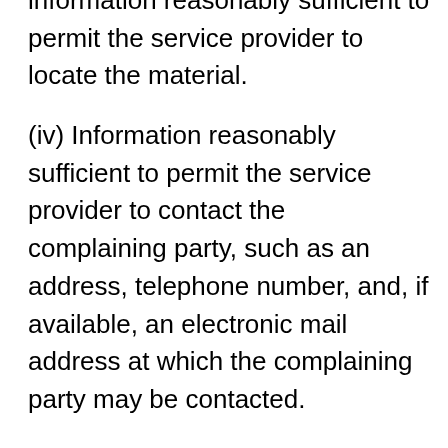information reasonably sufficient to permit the service provider to locate the material.
(iv) Information reasonably sufficient to permit the service provider to contact the complaining party, such as an address, telephone number, and, if available, an electronic mail address at which the complaining party may be contacted.
(v) A statement that the complaining party has a good faith belief that use of the material in the manner complained of is not authorized by the copyright owner, its agent, or the law.
(vi) A statement that the information in the